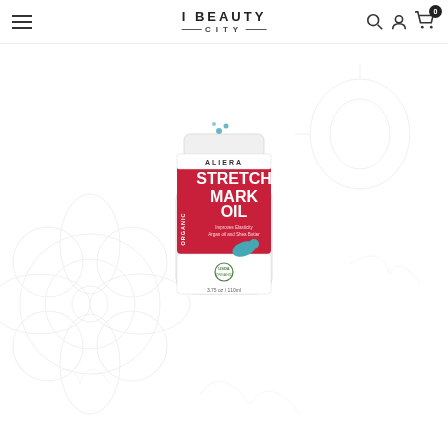I BEAUTY CITY
[Figure (screenshot): E-commerce website screenshot showing I Beauty City header with hamburger menu, search icon, user icon, cart with 0 badge, and a product image of Aliera Organics Organic Stretch Mark Oil bottle against a decorative botanical illustration background]